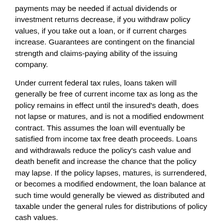payments may be needed if actual dividends or investment returns decrease, if you withdraw policy values, if you take out a loan, or if current charges increase. Guarantees are contingent on the financial strength and claims-paying ability of the issuing company.
Under current federal tax rules, loans taken will generally be free of current income tax as long as the policy remains in effect until the insured's death, does not lapse or matures, and is not a modified endowment contract. This assumes the loan will eventually be satisfied from income tax free death proceeds. Loans and withdrawals reduce the policy's cash value and death benefit and increase the chance that the policy may lapse. If the policy lapses, matures, is surrendered, or becomes a modified endowment, the loan balance at such time would generally be viewed as distributed and taxable under the general rules for distributions of policy cash values.
The cost and availability of life insurance depend on factors such as age, health, and the type and amount of insurance purchased. As with most financial decisions, there are expenses associated with the purchase of life insurance. Policies commonly have mortality and expense charges. In addition, if a policy is surrendered prematurely, there may be surrender charges and income tax implications.
For investors who want the flexibility to change their premiums or death benefits, a universal life insurance policy may be ideal. If you are